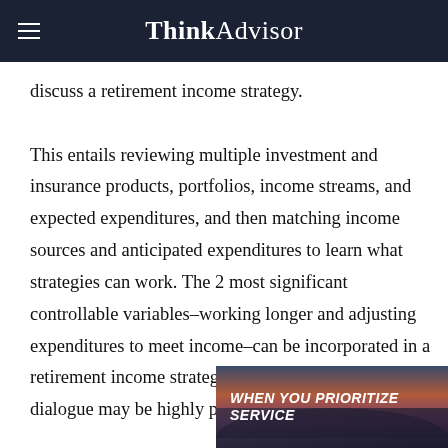ThinkAdvisor
discuss a retirement income strategy.

This entails reviewing multiple investment and insurance products, portfolios, income streams, and expected expenditures, and then matching income sources and anticipated expenditures to learn what strategies can work. The 2 most significant controllable variables–working longer and adjusting expenditures to meet income–can be incorporated in a retirement income strategy. Understandably, the dialogue may be highly personal and occasionally e
Few reps are able to suppor
[Figure (photo): Advertisement overlay with mountain silhouette background and text 'WHEN YOU PRIORITIZE SERVICE']